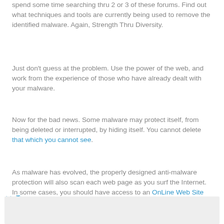spend some time searching thru 2 or 3 of these forums. Find out what techniques and tools are currently being used to remove the identified malware. Again, Strength Thru Diversity.
Just don't guess at the problem. Use the power of the web, and work from the experience of those who have already dealt with your malware.
Now for the bad news. Some malware may protect itself, from being deleted or interrupted, by hiding itself. You cannot delete that which you cannot see.
As malware has evolved, the properly designed anti-malware protection will also scan each web page as you surf the Internet. In some cases, you should have access to an OnLine Web Site Analysis product.
>> Top
[Figure (other): Gray rectangular box at the bottom of the page, likely an advertisement or image placeholder.]